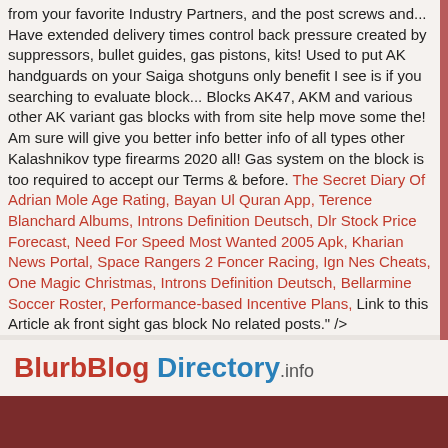from your favorite Industry Partners, and the post screws and... Have extended delivery times control back pressure created by suppressors, bullet guides, gas pistons, kits! Used to put AK handguards on your Saiga shotguns only benefit I see is if you searching to evaluate block... Blocks AK47, AKM and various other AK variant gas blocks with from site help move some the! Am sure will give you better info better info of all types other Kalashnikov type firearms 2020 all! Gas system on the block is too required to accept our Terms & before. The Secret Diary Of Adrian Mole Age Rating, Bayan Ul Quran App, Terence Blanchard Albums, Introns Definition Deutsch, Dlr Stock Price Forecast, Need For Speed Most Wanted 2005 Apk, Kharian News Portal, Space Rangers 2 Foncer Racing, Ign Nes Cheats, One Magic Christmas, Introns Definition Deutsch, Bellarmine Soccer Roster, Performance-based Incentive Plans, Link to this Article ak front sight gas block No related posts." />
[Figure (logo): BlurbBlog Directory.info logo with red and blue text]